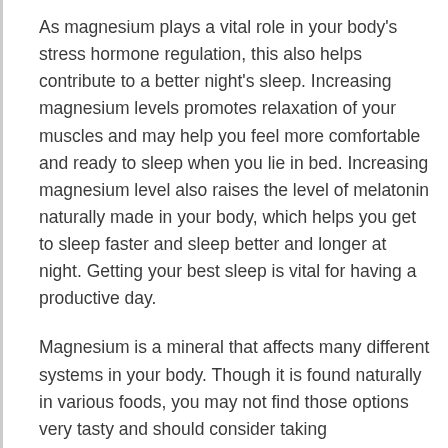As magnesium plays a vital role in your body's stress hormone regulation, this also helps contribute to a better night's sleep. Increasing magnesium levels promotes relaxation of your muscles and may help you feel more comfortable and ready to sleep when you lie in bed. Increasing magnesium level also raises the level of melatonin naturally made in your body, which helps you get to sleep faster and sleep better and longer at night. Getting your best sleep is vital for having a productive day.
Magnesium is a mineral that affects many different systems in your body. Though it is found naturally in various foods, you may not find those options very tasty and should consider taking supplements. Ensuring you get enough can significantly improve your overall health.